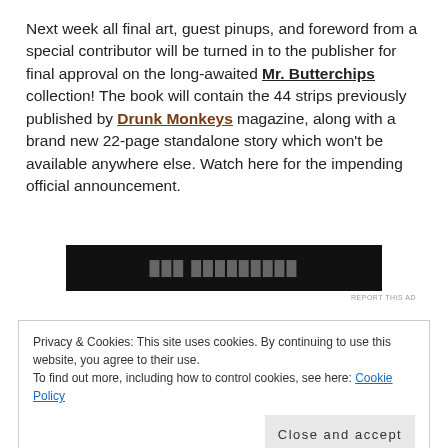Next week all final art, guest pinups, and foreword from a special contributor will be turned in to the publisher for final approval on the long-awaited Mr. Butterchips collection! The book will contain the 44 strips previously published by Drunk Monkeys magazine, along with a brand new 22-page standalone story which won't be available anywhere else. Watch here for the impending official announcement.
[Figure (other): Dark advertisement banner with partially visible text]
REPORT THIS AD
Privacy & Cookies: This site uses cookies. By continuing to use this website, you agree to their use. To find out more, including how to control cookies, see here: Cookie Policy